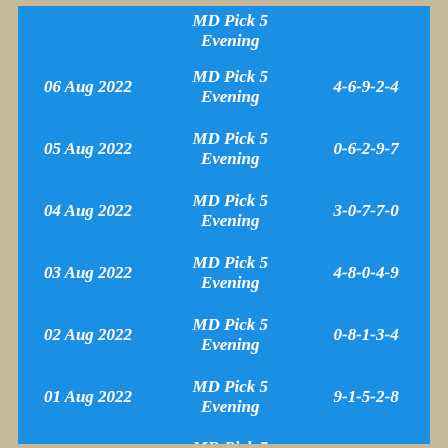| Date | Game | Numbers |
| --- | --- | --- |
|  | MD Pick 5 Evening |  |
| 06 Aug 2022 | MD Pick 5 Evening | 4-6-9-2-4 |
| 05 Aug 2022 | MD Pick 5 Evening | 0-6-2-9-7 |
| 04 Aug 2022 | MD Pick 5 Evening | 3-0-7-7-0 |
| 03 Aug 2022 | MD Pick 5 Evening | 4-8-0-4-9 |
| 02 Aug 2022 | MD Pick 5 Evening | 0-8-1-3-4 |
| 01 Aug 2022 | MD Pick 5 Evening | 9-1-5-2-8 |
| 31 Jul 2022 | MD Pick 5 Evening | 3-9-8-5-9 |